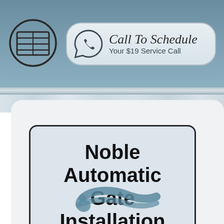[Figure (logo): Garage door icon in a circle, dark outline style]
[Figure (infographic): Call To Schedule Your $19 Service Call button with WhatsApp phone icon, rounded rectangular badge]
Noble Automatic Gate Installation Services
[Figure (logo): Stylized wave/swirl logo in teal/steel blue at bottom of card]